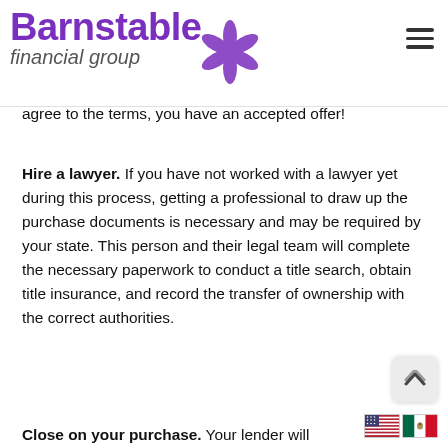Barnstable financial group
Keep in mind that if accepted, your offer is binding, so be confident that what you send protects your interests. If you and the seller agree to the terms, you have an accepted offer!
Hire a lawyer. If you have not worked with a lawyer yet during this process, getting a professional to draw up the purchase documents is necessary and may be required by your state. This person and their legal team will complete the necessary paperwork to conduct a title search, obtain title insurance, and record the transfer of ownership with the correct authorities.
Close on your purchase. Your lender will